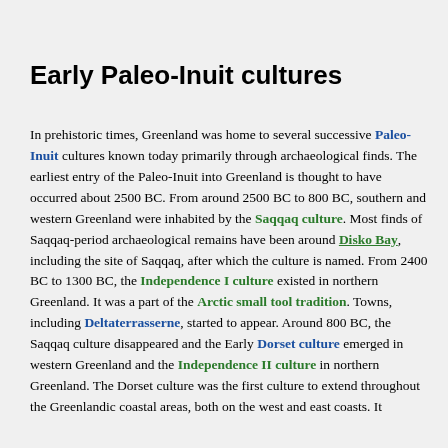Early Paleo-Inuit cultures
In prehistoric times, Greenland was home to several successive Paleo-Inuit cultures known today primarily through archaeological finds. The earliest entry of the Paleo-Inuit into Greenland is thought to have occurred about 2500 BC. From around 2500 BC to 800 BC, southern and western Greenland were inhabited by the Saqqaq culture. Most finds of Saqqaq-period archaeological remains have been around Disko Bay, including the site of Saqqaq, after which the culture is named. From 2400 BC to 1300 BC, the Independence I culture existed in northern Greenland. It was a part of the Arctic small tool tradition. Towns, including Deltaterrasserne, started to appear. Around 800 BC, the Saqqaq culture disappeared and the Early Dorset culture emerged in western Greenland and the Independence II culture in northern Greenland. The Dorset culture was the first culture to extend throughout the Greenlandic coastal areas, both on the west and east coasts. It